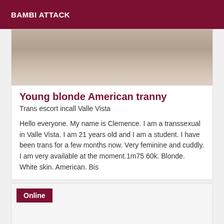BAMBI ATTACK
[Figure (photo): Partial photo showing a floor surface, top portion of a listing card image]
Young blonde American tranny
Trans escort incall Valle Vista
Hello everyone. My name is Clemence. I am a transsexual in Valle Vista. I am 21 years old and I am a student. I have been trans for a few months now. Very feminine and cuddly. I am very available at the moment.1m75 60k. Blonde. White skin. American. Bis
[Figure (photo): Second listing card with Online badge, image area mostly empty/white]